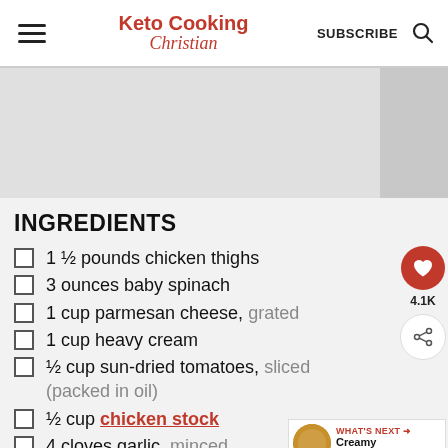Keto Cooking Christian | SUBSCRIBE
INGREDIENTS
1 ½ pounds chicken thighs
3 ounces baby spinach
1 cup parmesan cheese, grated
1 cup heavy cream
½ cup sun-dried tomatoes, sliced (packed in oil)
½ cup chicken stock
4 cloves garlic, minced